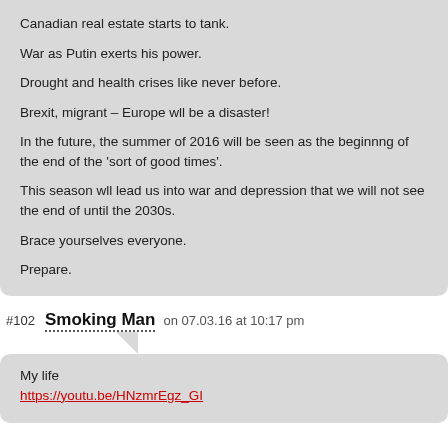Canadian real estate starts to tank.
War as Putin exerts his power.
Drought and health crises like never before.
Brexit, migrant – Europe wll be a disaster!
In the future, the summer of 2016 will be seen as the beginnng of the end of the 'sort of good times'.
This season wll lead us into war and depression that we will not see the end of until the 2030s.
Brace yourselves everyone.
Prepare.
#102 Smoking Man on 07.03.16 at 10:17 pm
My life
https://youtu.be/HNzmrEgz_GI